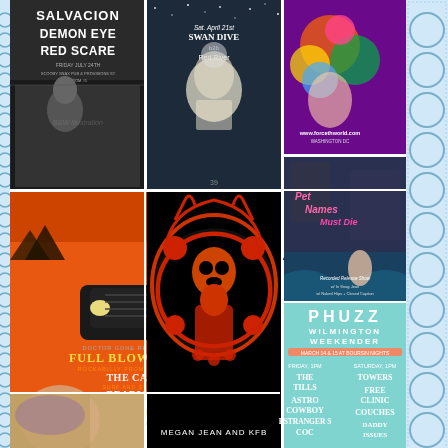[Figure (illustration): Grid of music/event posters including: Salvacion, Demon Eye, Red Scare concert poster (black and white); Swan Dive at Red River poster with illustrated figure; colorful cartoon character illustration with URL www.forcethworld.com; Full Blown Cherry, The Carvers, Deadly Lo-Fi at Orton's July 26th (Doctor Gone Records) orange rockabilly poster; large black and red psychedelic art poster (Megan Jean and KFB); Pet Names Must Die movie-style poster; PHUZZ Wilmington Weekender event poster with schedule listing The Tills, Astro Cowboy, Strangers, Towers, Free Clinic, Couches, Daddy Issues; partial portrait photo bottom left; blue decorative border strips on sides]
SALVACION DEMON EYE RED SCARE FRIDAY JULY 24TH SCOOBY SNAX PUB & PROVISIONS ST ROOM #5
Sat. April 21st SWAN DIVE b2b Red River
www.forcethworld.com WASHINGTON DC
DOCTOR GONE RECORDS PRESENT FULL BLOWN CHERRY ROCKABILLY FROM PHILADELPHIA, PA THE CARVERS SURF AND STOMP COMBO DEADLY LO-FI SPOOKY TRASH ROCK ORTON'S JULY 26TH 131 N. FRONT ST. WILMINGTON, NC
Pet Names MUST DIE Recorded Release Show w/ In Snug Jean w/ Naked Hips + Closed Caption
P H U Z Z WILMINGTON WEEKENDER MARCH 14 & 15 AT BOURSIN NIGHTS FRIDAY 1PM: THE TILLS, ASTRO COWBOY, STRANGERS, COC SATURDAY 1PM: TOWERS, FREE CLINIC, COUCHES, DADDY ISSUES
MEGAN JEAN AND KFB